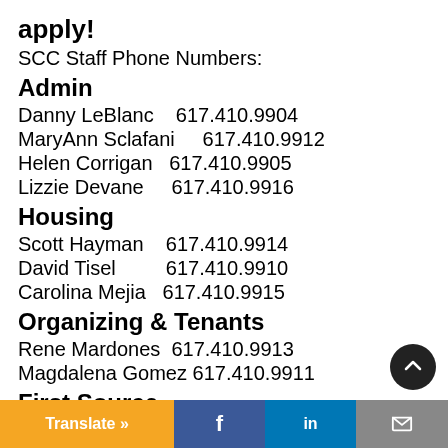apply!
SCC Staff Phone Numbers:
Admin
Danny LeBlanc    617.410.9904
MaryAnn Sclafani     617.410.9912
Helen Corrigan   617.410.9905
Lizzie Devane     617.410.9916
Housing
Scott Hayman    617.410.9914
David Tisel         617.410.9910
Carolina Mejia   617.410.9915
Organizing & Tenants
Rene Mardones  617.410.9913
Magdalena Gomez 617.410.9911
First Source
Blake Roberts-Crall 617.410.9902
Danyal Najmi      617.410.9917
Translate » | f | in | mail